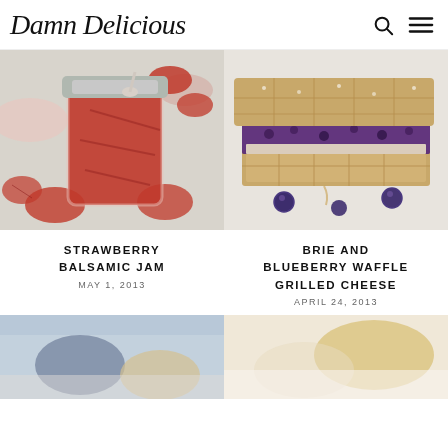Damn Delicious
[Figure (photo): Strawberry balsamic jam in a mason jar with strawberry slices around it on a white surface]
STRAWBERRY BALSAMIC JAM
MAY 1, 2013
[Figure (photo): Brie and blueberry waffle grilled cheese sandwich, cross-section view showing blueberry filling and melted brie, with fresh blueberries scattered around]
BRIE AND BLUEBERRY WAFFLE GRILLED CHEESE
APRIL 24, 2013
[Figure (photo): Partial view of a food dish, blurred blue and tan tones]
[Figure (photo): Partial view of a food dish with light golden tones]